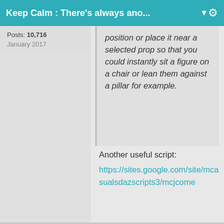Keep Calm : There's always ano... ▼
Posts: 10,716
January 2017
position or place it near a selected prop so that you could instantly sit a figure on a chair or lean them against a pillar for example.
Another useful script:
https://sites.google.com/site/mcasualsdazscripts3/mcjcome